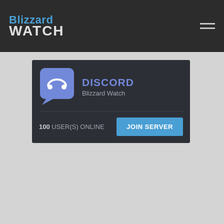[Figure (logo): Blizzard Watch logo - blue Blizzard text above white WATCH text on dark background]
[Figure (screenshot): Discord widget showing Blizzard Watch server with 100 users online and a JOIN SERVER button]
100 USER(S) ONLINE
[Figure (photo): Person lying back holding a game controller up in the air, wearing dark clothing, casual gaming pose]